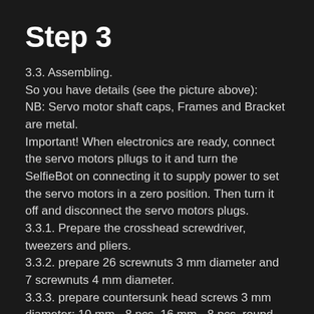Step 3
3.3. Assembling.
So you have details (see the picture above):
NB: Servo motor shaft caps, Frames and Bracket are metal.
Important! When electronics are ready, connect the servo motors plugs to it and turn the SelfieBot on connecting it to supply power to set the servo motors in a zero position. Then turn it off and disconnect the servo motors plugs.
3.3.1. Prepare the crosshead screwdriver, tweezers and pliers.
3.3.2. prepare 26 screwnuts 3 mm diameter and 7 screwnuts 4 mm diameter.
3.3.3. prepare countersunk head screws 3 mm diameter: 10 mm - 8 pcs. 16 mm - 8 pcs. round head screws 3 mm diameter: 8 mm - 2 pcs. 16 mm - 6 pcs. 20 mm - 10 pcs. countersunk head screws 4 mm